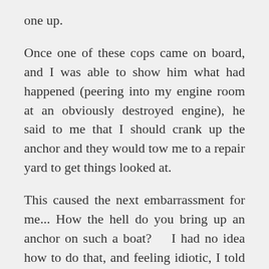one up.
Once one of these cops came on board, and I was able to show him what had happened (peering into my engine room at an obviously destroyed engine), he said to me that I should crank up the anchor and they would tow me to a repair yard to get things looked at.
This caused the next embarrassment for me... How the hell do you bring up an anchor on such a boat?    I had no idea how to do that, and feeling idiotic, I told the cop this.   So, with the patience of Job, he showed me how it worked, and clambered back onto his boat and gave me a tow rope to secure to my bows, and we hauled